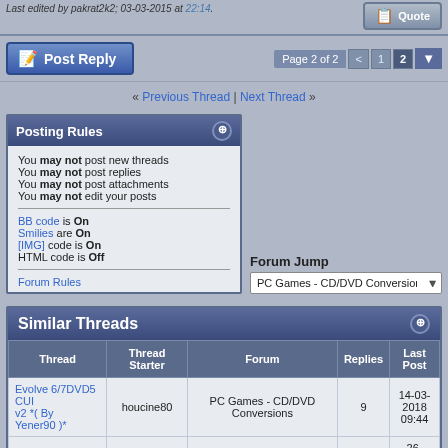Last edited by pakrat2k2; 03-03-2015 at 22:14.
[Figure (screenshot): Quote button in top-right corner]
[Figure (screenshot): Post Reply button with page navigation showing Page 2 of 2, with buttons < 1 2 and dropdown arrow]
« Previous Thread | Next Thread »
Posting Rules
You may not post new threads
You may not post replies
You may not post attachments
You may not edit your posts
BB code is On
Smilies are On
[IMG] code is On
HTML code is Off
Forum Rules
Forum Jump
PC Games - CD/DVD Conversions
Similar Threads
| Thread | Thread Starter | Forum | Replies | Last Post |
| --- | --- | --- | --- | --- |
| Evolve 6/7DVD5 CUI v2 *( By Yener90 )* | houcine80 | PC Games - CD/DVD Conversions | 9 | 14-03-2018 09:44 |
| NBA 2K15 |  |  |  | 26-02-... |